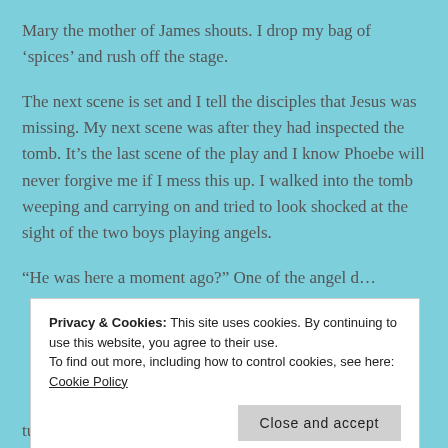Mary the mother of James shouts. I drop my bag of 'spices' and rush off the stage.
The next scene is set and I tell the disciples that Jesus was missing. My next scene was after they had inspected the tomb. It’s the last scene of the play and I know Phoebe will never forgive me if I mess this up. I walked into the tomb weeping and carrying on and tried to look shocked at the sight of the two boys playing angels.
“He was here a moment ago?” One of the angel d…
Privacy & Cookies: This site uses cookies. By continuing to use this website, you agree to their use.
To find out more, including how to control cookies, see here: Cookie Policy
Close and accept
turn around and try not to laugh at the sight of